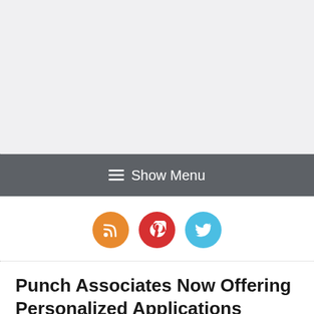[Figure (screenshot): Light gray placeholder/header area at the top of the page]
≡ Show Menu
[Figure (infographic): Three social media icon buttons in a row: RSS (orange), Pinterest (red), Twitter (blue)]
Punch Associates Now Offering Personalized Applications